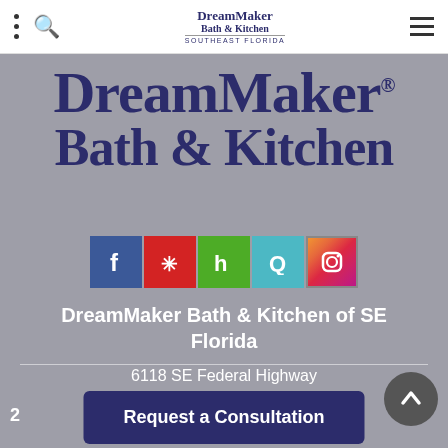DreamMaker Bath & Kitchen SOUTHEAST FLORIDA
DreamMaker® Bath & Kitchen
[Figure (logo): Row of 5 social media icons: Facebook (blue), Yelp (red), Houzz (green), Q/Quora (teal), Instagram (gradient)]
DreamMaker Bath & Kitchen of SE Florida
6118 SE Federal Highway
Stuart, FL 34997
Phone: (772) 837-5785
Request a Consultation